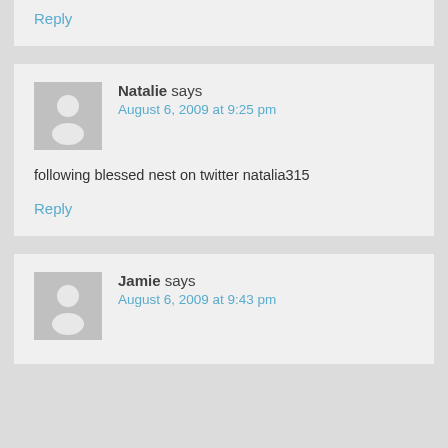Reply
Natalie says
August 6, 2009 at 9:25 pm
following blessed nest on twitter natalia315
Reply
Jamie says
August 6, 2009 at 9:43 pm